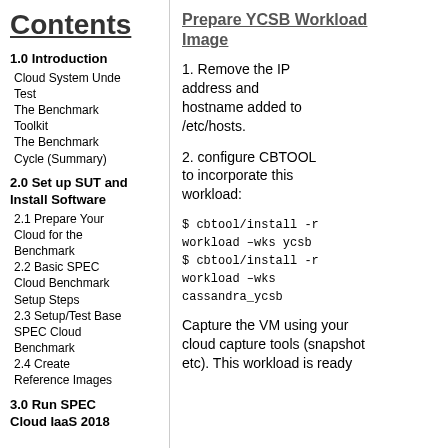Contents
1.0 Introduction
Cloud System Under Test
The Benchmark Toolkit
The Benchmark Cycle (Summary)
2.0 Set up SUT and Install Software
2.1 Prepare Your Cloud for the Benchmark
2.2 Basic SPEC Cloud Benchmark Setup Steps
2.3 Setup/Test Base SPEC Cloud Benchmark
2.4 Create Reference Images
3.0 Run SPEC Cloud IaaS 2018
Prepare YCSB Workload Image
1. Remove the IP address and hostname added to /etc/hosts.
2. configure CBTOOL to incorporate this workload:
$ cbtool/install -r workload –wks ycsb
$ cbtool/install -r workload –wks cassandra_ycsb
Capture the VM using your cloud capture tools (snapshot etc). This workload is ready